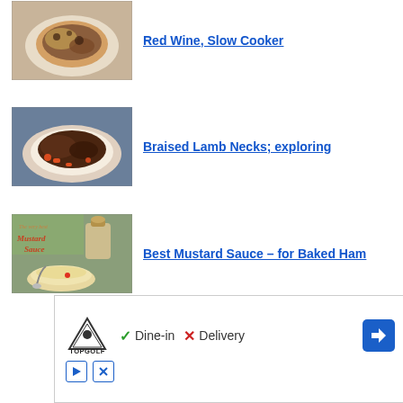[Figure (photo): Food photo: braised meat with mushrooms served on a white plate, brown sauce]
Red Wine, Slow Cooker
[Figure (photo): Food photo: Braised lamb necks on a white plate with carrots and dark braising sauce]
Braised Lamb Necks; exploring
[Figure (photo): Food photo: The very best Mustard Sauce - a jar of mustard with a bowl of mustard sauce]
Best Mustard Sauce – for Baked Ham
[Figure (other): Topgolf advertisement banner: Dine-in with checkmark, Delivery with X mark, navigation arrow icon]